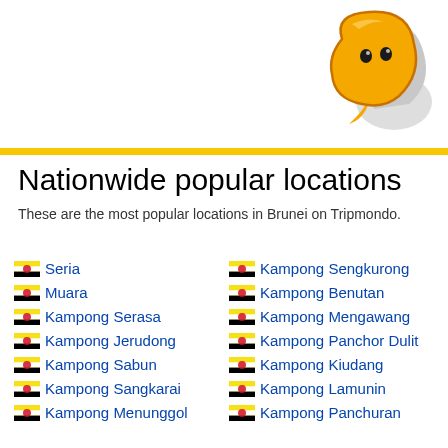[Figure (logo): Tripmondo mascot: orange speech-bubble shaped character with two eyes, 3D style]
Nationwide popular locations
These are the most popular locations in Brunei on Tripmondo.
Seria
Kampong Sengkurong
Muara
Kampong Benutan
Kampong Serasa
Kampong Mengawang
Kampong Jerudong
Kampong Panchor Dulit
Kampong Sabun
Kampong Kiudang
Kampong Sangkarai
Kampong Lamunin
Kampong Menunggol
Kampong Panchuran